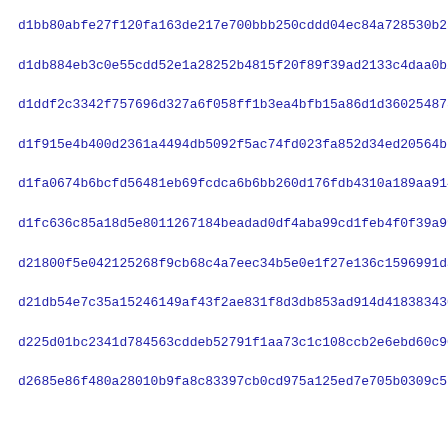d1bb80abfe27f120fa163de217e700bbb250cddd04ec84a728530b2546336
d1db884eb3c0e55cdd52e1a28252b4815f20f89f39ad2133c4daa0b2c6093
d1ddf2c3342f757696d327a6f058ff1b3ea4bfb15a86d1d36025487307ea2
d1f915e4b400d2361a4494db5092f5ac74fd023fa852d34ed20564bb20628
d1fa0674b6bcfd56481eb69fcdca6b6bb260d176fdb4310a189aa914901b3
d1fc636c85a18d5e8011267184beadad0df4aba99cd1feb4f0f39a9932d66
d21800f5e042125268f9cb68c4a7eec34b5e0e1f27e136c1596991da6a634
d21db54e7c35a15246149af43f2ae831f8d3db853ad914d4183834306e053
d225d01bc2341d784563cddeb52791f1aa73c1c108ccb2e6ebd60c9020c81
d2685e86f480a28010b9fa8c83397cb0cd975a125ed7e705b0309c5b242ac